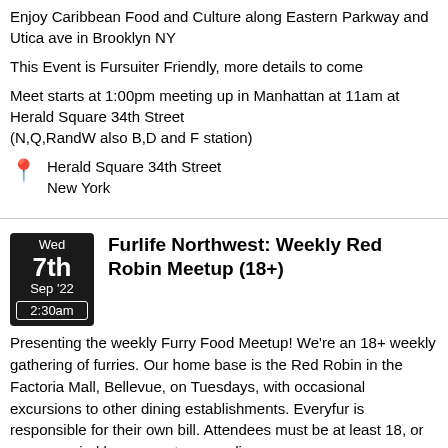Enjoy Caribbean Food and Culture along Eastern Parkway and Utica ave in Brooklyn NY
This Event is Fursuiter Friendly, more details to come
Meet starts at 1:00pm meeting up in Manhattan at 11am at Herald Square 34th Street (N,Q,RandW also B,D and F station)
Herald Square 34th Street
New York
Furlife Northwest: Weekly Red Robin Meetup (18+)
Presenting the weekly Furry Food Meetup! We're an 18+ weekly gathering of furries. Our home base is the Red Robin in the Factoria Mall, Bellevue, on Tuesdays, with occasional excursions to other dining establishments. Everyfur is responsible for their own bill. Attendees must be at least 18, or accompanied by a parent or guardian.
Parking/Transportation:
Red Robin is in the Factoria Mall with spacious parking.